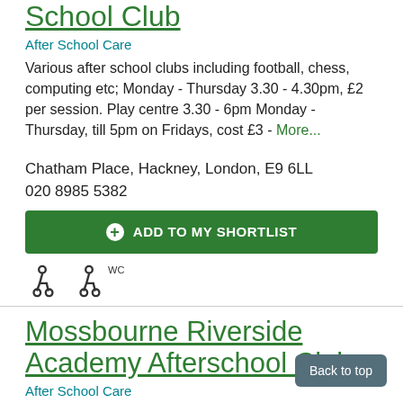School Club
After School Care
Various after school clubs including football, chess, computing etc; Monday - Thursday 3.30 - 4.30pm, £2 per session. Play centre 3.30 - 6pm Monday - Thursday, till 5pm on Fridays, cost £3 - More...
Chatham Place, Hackney, London, E9 6LL
020 8985 5382
ADD TO MY SHORTLIST
[Figure (infographic): Two wheelchair accessibility icons]
Mossbourne Riverside Academy Afterschool Club
After School Care